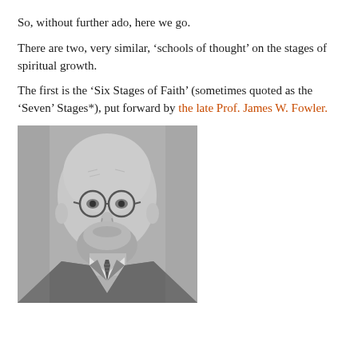So, without further ado, here we go.
There are two, very similar, ‘schools of thought’ on the stages of spiritual growth.
The first is the ‘Six Stages of Faith’ (sometimes quoted as the ‘Seven’ Stages*), put forward by the late Prof. James W. Fowler.
[Figure (photo): Black and white portrait photograph of Prof. James W. Fowler, an elderly bald man with a grey beard and glasses, wearing a suit and tie, smiling slightly.]